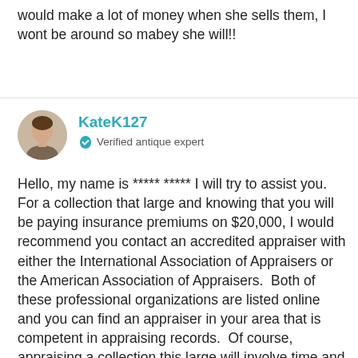would make a lot of money when she sells them, I wont be around so mabey she will!!
KateK127
Verified antique expert
Hello, my name is ***** ***** I will try to assist you.  For a collection that large and knowing that you will be paying insurance premiums on $20,000, I would recommend you contact an accredited appraiser with either the International Association of Appraisers or the American Association of Appraisers.  Both of these professional organizations are listed online and you can find an appraiser in your area that is competent in appraising records.  Of course, appraising a collection this large will involve time and money but would certainly be a good investment.  If your house was to burn down, the insurance company would want to have RECORDS...